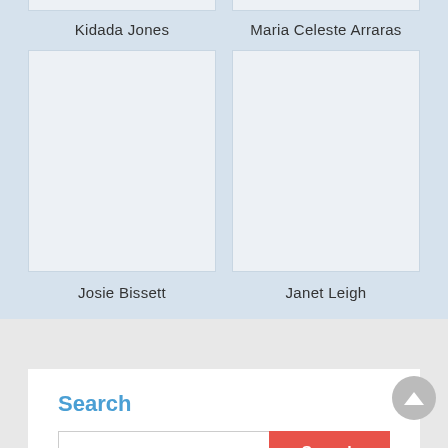Kidada Jones
Maria Celeste Arraras
[Figure (photo): Photo placeholder for Josie Bissett]
[Figure (photo): Photo placeholder for Janet Leigh]
Josie Bissett
Janet Leigh
Search
Search (button)